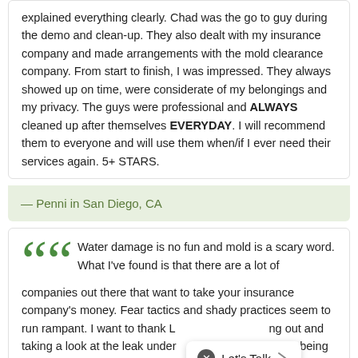explained everything clearly. Chad was the go to guy during the demo and clean-up. They also dealt with my insurance company and made arrangements with the mold clearance company. From start to finish, I was impressed. They always showed up on time, were considerate of my belongings and my privacy. The guys were professional and ALWAYS cleaned up after themselves EVERYDAY. I will recommend them to everyone and will use them when/if I ever need their services again. 5+ STARS.
— Penni in San Diego, CA
Water damage is no fun and mold is a scary word. What I've found is that there are a lot of companies out there that want to take your insurance company's money. Fear tactics and shady practices seem to run rampant. I want to thank [L...] for coming out and taking a look at the leak under [...] being told that I was going to need a complete kitchen remodel. David said at most I should just replace the